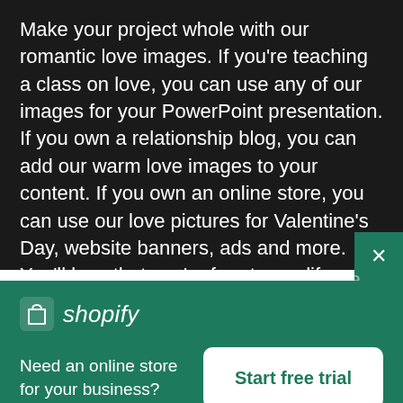Make your project whole with our romantic love images. If you're teaching a class on love, you can use any of our images for your PowerPoint presentation. If you own a relationship blog, you can add our warm love images to your content. If you own an online store, you can use our love pictures for Valentine’s Day, website banners, ads and more. You’ll love that you’re free to modify any of our images under our Creative Commons Zero license - and you can use our images for any project your heart desires.
[Figure (logo): Shopify logo with shopping bag icon and italic shopify wordmark in white on green background]
Need an online store for your business?
Start free trial